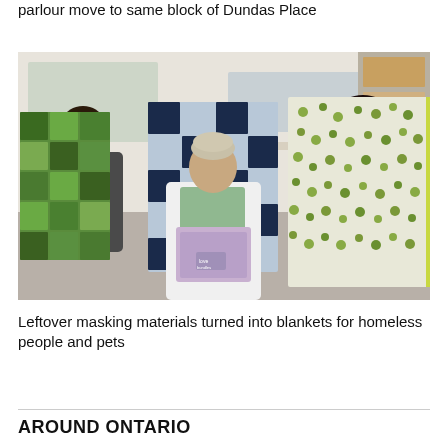parlour move to same block of Dundas Place
[Figure (photo): Four women standing in what appears to be a workshop or sewing room, holding up quilts and blankets. The woman in the center is elderly and holds a small purple/lavender blanket. The others hold larger quilts — a green patchwork quilt on the left, a blue and dark navy checkerboard quilt in the center-back, and a white fabric with green frog/animal print on the right.]
Leftover masking materials turned into blankets for homeless people and pets
AROUND ONTARIO